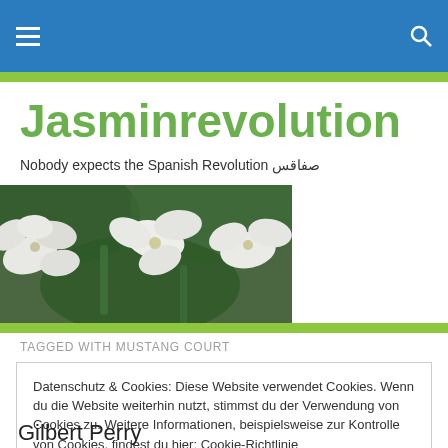Jasminrevolution — site header with hamburger menu and search icon
Jasminrevolution
Nobody expects the Spanish Revolution صفاقس
[Figure (photo): Close-up photo of white jasmine flowers with green leaves]
TAGGED WITH MUSTANG COURT
Datenschutz & Cookies: Diese Website verwendet Cookies. Wenn du die Website weiterhin nutzt, stimmst du der Verwendung von Cookies zu. Weitere Informationen, beispielsweise zur Kontrolle von Cookies, findest du hier: Cookie-Richtlinie
Schließen und Akzeptieren
Gilbert Perry